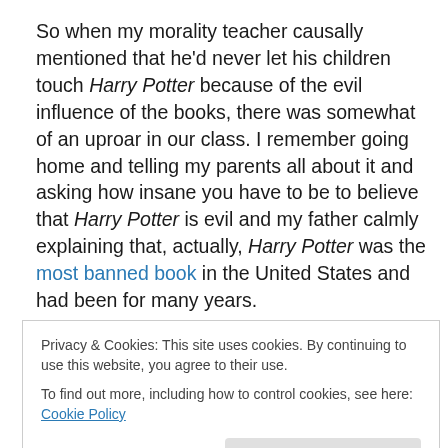So when my morality teacher causally mentioned that he'd never let his children touch Harry Potter because of the evil influence of the books, there was somewhat of an uproar in our class. I remember going home and telling my parents all about it and asking how insane you have to be to believe that Harry Potter is evil and my father calmly explaining that, actually, Harry Potter was the most banned book in the United States and had been for many years.
This was shocking to me as I had been introduced to them
Privacy & Cookies: This site uses cookies. By continuing to use this website, you agree to their use. To find out more, including how to control cookies, see here: Cookie Policy
contrary. I learned that many parents objected to Harry